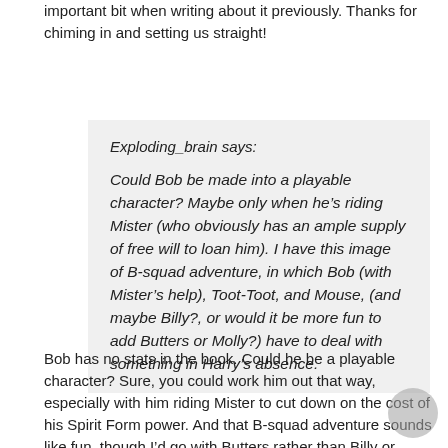important bit when writing about it previously. Thanks for chiming in and setting us straight!
Exploding_brain says:

Could Bob be made into a playable character? Maybe only when he’s riding Mister (who obviously has an ample supply of free will to loan him). I have this image of B-squad adventure, in which Bob (with Mister’s help), Toot-Toot, and Mouse, (and maybe Billy?, or would it be more fun to add Butters or Molly?) have to deal with something in Harry’s absence.
Bob has no stats in the book. Could he be a playable character? Sure, you could work him out that way, especially with him riding Mister to cut down on the cost of his Spirit Form power. And that B-squad adventure sounds like fun, though I’d go with Butters rather than Billy or Molly, just to keep the overt powers down. But that’s just me.